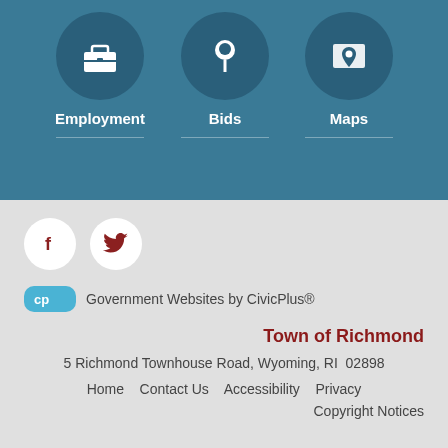[Figure (illustration): Three circular dark teal icon buttons: toolbox/briefcase for Employment, pushpin for Bids, map/location for Maps, each with a white icon on a dark teal circle background, arranged horizontally on a medium teal background]
Employment
Bids
Maps
[Figure (logo): Facebook logo circle (white circle with dark red 'f')]
[Figure (logo): Twitter logo circle (white circle with dark red bird icon)]
[Figure (logo): CivicPlus logo: teal rounded rectangle with 'cp' text]
Government Websites by CivicPlus®
Town of Richmond
5 Richmond Townhouse Road, Wyoming, RI  02898
Home    Contact Us    Accessibility    Privacy
Copyright Notices